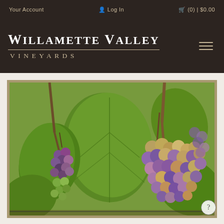Your Account   Log In   (0) | $0.00
WILLAMETTE VALLEY VINEYARDS
[Figure (photo): Close-up photo of clusters of Pinot Gris/Pinot Noir grapes on the vine at Willamette Valley Vineyards, showing green and purple grape clusters hanging among large green leaves.]